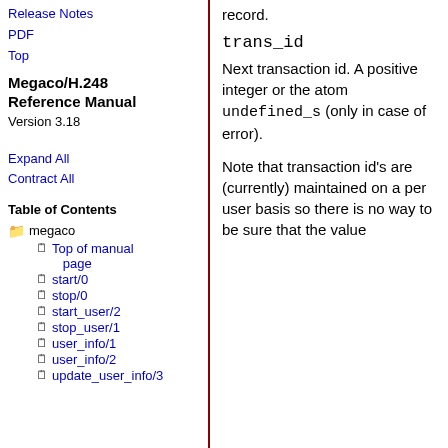Release Notes
PDF
Top
Megaco/H.248 Reference Manual
Version 3.18
Expand All
Contract All
Table of Contents
megaco
Top of manual page
start/0
stop/0
start_user/2
stop_user/1
user_info/1
user_info/2
update_user_info/3
record.
trans_id
Next transaction id. A positive integer or the atom undefined_s (only in case of error).
Note that transaction id's are (currently) maintained on a per user basis so there is no way to be sure that the value